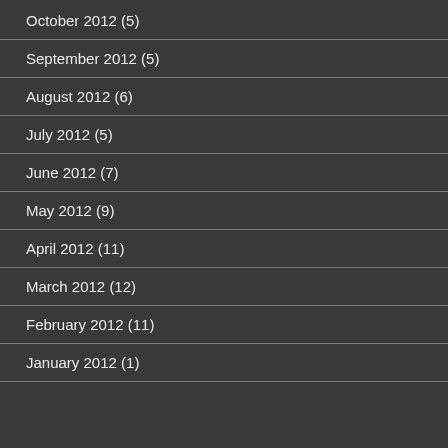October 2012 (5)
September 2012 (5)
August 2012 (6)
July 2012 (5)
June 2012 (7)
May 2012 (9)
April 2012 (11)
March 2012 (12)
February 2012 (11)
January 2012 (1)